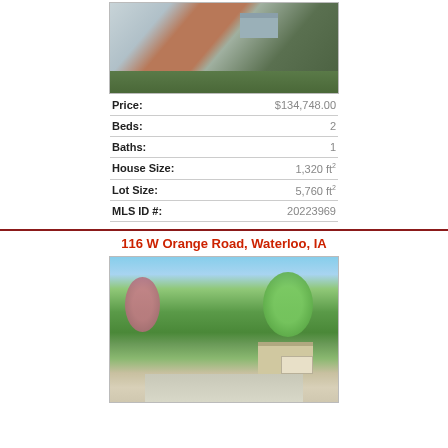[Figure (photo): Exterior photo of a house with gray siding, brick accent, attached garage, concrete driveway, and green lawn]
| Field | Value |
| --- | --- |
| Price: | $134,748.00 |
| Beds: | 2 |
| Baths: | 1 |
| House Size: | 1,320 ft² |
| Lot Size: | 5,760 ft² |
| MLS ID #: | 20223969 |
116 W Orange Road, Waterloo, IA
[Figure (photo): Exterior photo of a ranch-style house with attached garage, large trees, green lawn, and concrete driveway, sunny day]